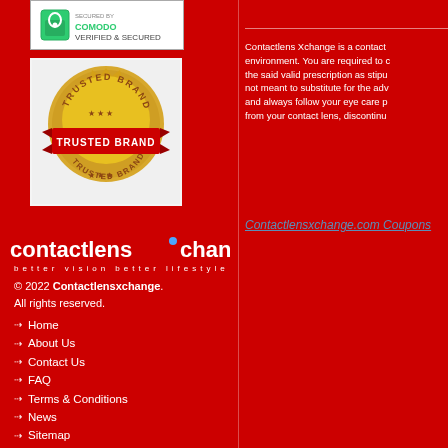[Figure (logo): Verified and secured badge with padlock icon]
[Figure (logo): Trusted Brand gold seal badge]
[Figure (logo): Contactlens Xchange logo - better vision better lifestyle]
© 2022 Contactlensxchange. All rights reserved.
Home
About Us
Contact Us
FAQ
Terms & Conditions
News
Sitemap
Blog
Return & Refund Policy
Shipping Information
Privacy Policy
Contactlens Xchange is a contact environment. You are required to c the said valid prescription as stipu not meant to substitute for the adv and always follow your eye care p from your contact lens, discontinu
Contactlensxchange.com Coupons